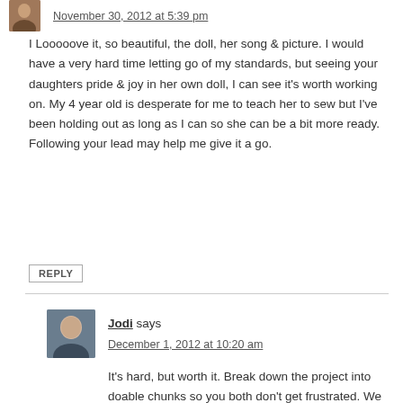November 30, 2012 at 5:39 pm
I Looooove it, so beautiful, the doll, her song & picture. I would have a very hard time letting go of my standards, but seeing your daughters pride & joy in her own doll, I can see it's worth working on. My 4 year old is desperate for me to teach her to sew but I've been holding out as long as I can so she can be a bit more ready. Following your lead may help me give it a go.
REPLY
Jodi says
December 1, 2012 at 10:20 am
It's hard, but worth it. Break down the project into doable chunks so you both don't get frustrated. We did this over a course of a few days.